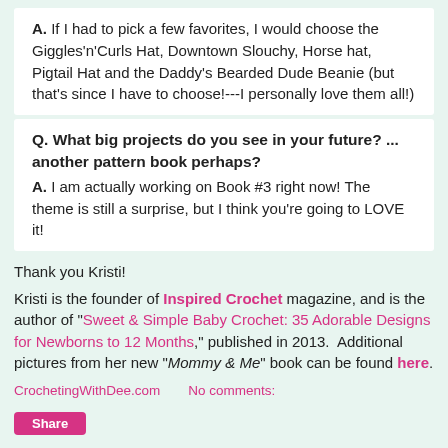A. If I had to pick a few favorites, I would choose the Giggles'n'Curls Hat, Downtown Slouchy, Horse hat, Pigtail Hat and the Daddy's Bearded Dude Beanie (but that's since I have to choose!---I personally love them all!)
Q. What big projects do you see in your future? ... another pattern book perhaps? A. I am actually working on Book #3 right now! The theme is still a surprise, but I think you're going to LOVE it!
Thank you Kristi!
Kristi is the founder of Inspired Crochet magazine, and is the author of "Sweet & Simple Baby Crochet: 35 Adorable Designs for Newborns to 12 Months," published in 2013. Additional pictures from her new "Mommy & Me" book can be found here.
CrochetingWithDee.com    No comments: